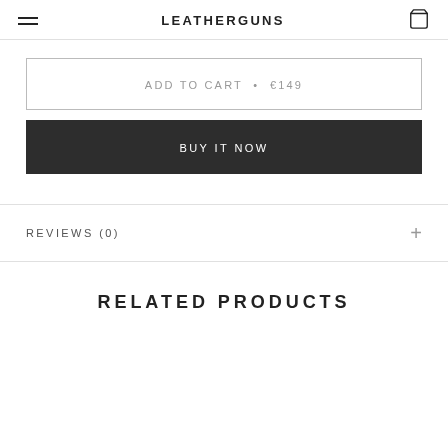LEATHERGUNS
ADD TO CART  •  €149
BUY IT NOW
REVIEWS (0)
RELATED PRODUCTS